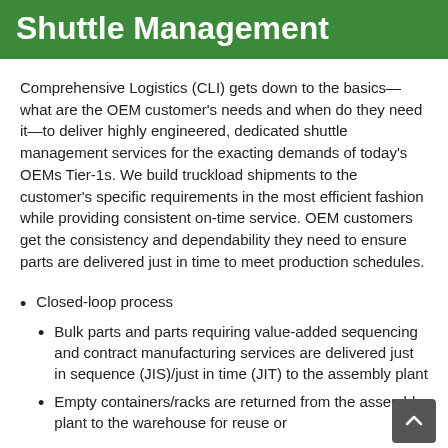Shuttle Management
Comprehensive Logistics (CLI) gets down to the basics—what are the OEM customer's needs and when do they need it—to deliver highly engineered, dedicated shuttle management services for the exacting demands of today's OEMs Tier-1s. We build truckload shipments to the customer's specific requirements in the most efficient fashion while providing consistent on-time service. OEM customers get the consistency and dependability they need to ensure parts are delivered just in time to meet production schedules.
Closed-loop process
Bulk parts and parts requiring value-added sequencing and contract manufacturing services are delivered just in sequence (JIS)/just in time (JIT) to the assembly plant
Empty containers/racks are returned from the assembly plant to the warehouse for reuse or